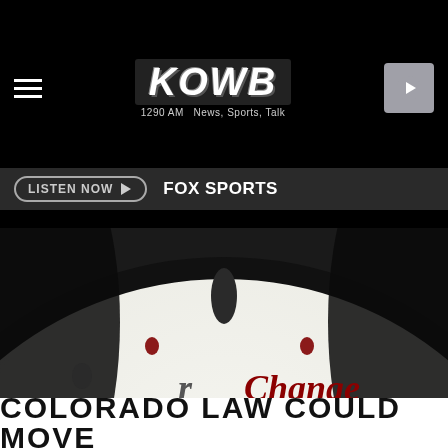KOWB 1290 AM News, Sports, Talk
LISTEN NOW ▶  FOX SPORTS
[Figure (photo): Close-up of a clock face with black and red hour markers and the word 'Change' in red text visible at the bottom. Watermark 'vu3kkm' in lower right corner.]
COLORADO LAW COULD MOVE